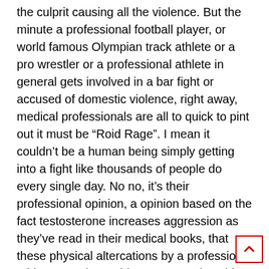the culprit causing all the violence. But the minute a professional football player, or world famous Olympian track athlete or a pro wrestler or a professional athlete in general gets involved in a bar fight or accused of domestic violence, right away, medical professionals are all to quick to pint out it must be “Roid Rage”. I mean it couldn’t be a human being simply getting into a fight like thousands of people do every single day. No no, it’s their professional opinion, a opinion based on the fact testosterone increases aggression as they’ve read in their medical books, that these physical altercations by a professional athlete must be ‘Roid Rage”. Funniest thing is, I’ve been friends with and surrounded by people both men and woman who used steroids for almost 20 years of my life. Not once in all these years have I ever witnessed or experienced this theory of “Roid Rage”. The fact is, “Roid